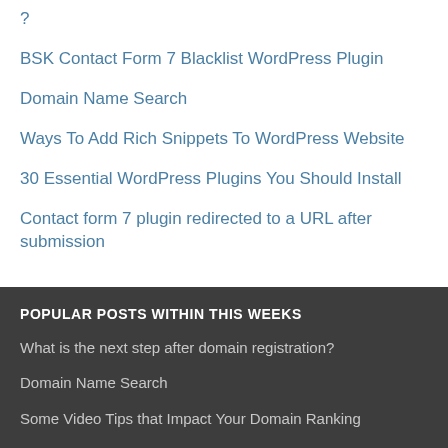?
BSK Contact Form 7 Blacklist WordPress Plugin
Domain Name Search
Ways To Add Rich Snippets To WordPress Website
30 Essential WordPress Plugins You Should Install
Contact form 7 plugin redirected to a URL after submission
POPULAR POSTS WITHIN THIS WEEKS
What is the next step after domain registration?
Domain Name Search
Some Video Tips that Impact Your Domain Ranking